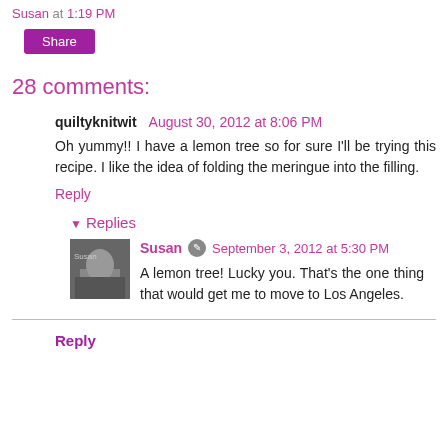Susan at 1:19 PM
Share
28 comments:
quiltyknitwit  August 30, 2012 at 8:06 PM
Oh yummy!! I have a lemon tree so for sure I'll be trying this recipe. I like the idea of folding the meringue into the filling.
Reply
▾ Replies
Susan  September 3, 2012 at 5:30 PM
A lemon tree! Lucky you. That's the one thing that would get me to move to Los Angeles.
Reply